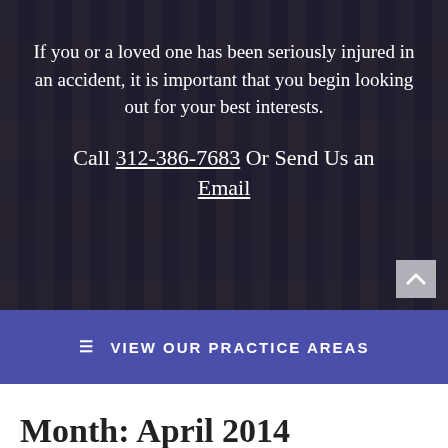[Figure (photo): Dark-overlay aerial cityscape photo of skyscrapers (likely Chicago) with golden buildings at dusk, used as hero background image for a law firm website.]
If you or a loved one has been seriously injured in an accident, it is important that you begin looking out for your best interests.
Call 312-386-7683 Or Send Us an Email
≡ VIEW OUR PRACTICE AREAS
Month: April 2014